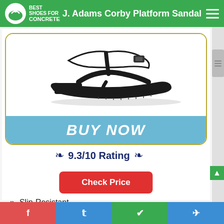J. Adams Corby Platform Sandal
[Figure (photo): Black J. Adams Corby Platform Sandal shoe product photo on white background, with a blue BUY NOW button below]
9.3/10 Rating
Check Price
Slip-Resistant
Earth-Conscious